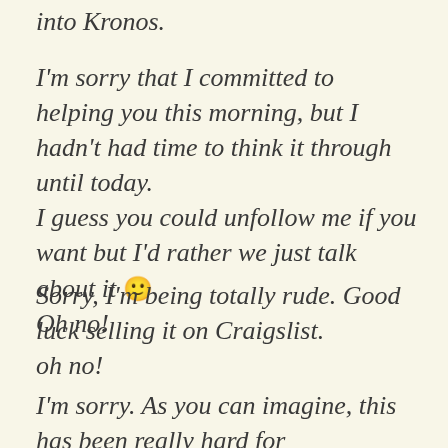into Kronos.
I'm sorry that I committed to helping you this morning, but I hadn't had time to think it through until today.
I guess you could unfollow me if you want but I'd rather we just talk about it 🙂
Oh no!
Sorry, I'm being totally rude. Good luck selling it on Craigslist.
oh no!
I'm sorry. As you can imagine, this has been really hard for